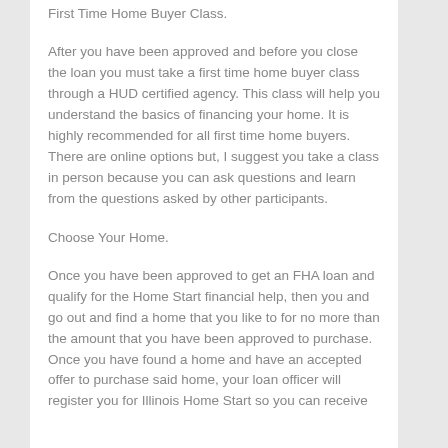First Time Home Buyer Class.
After you have been approved and before you close the loan you must take a first time home buyer class through a HUD certified agency. This class will help you understand the basics of financing your home. It is highly recommended for all first time home buyers. There are online options but, I suggest you take a class in person because you can ask questions and learn from the questions asked by other participants.
Choose Your Home.
Once you have been approved to get an FHA loan and qualify for the Home Start financial help, then you and go out and find a home that you like to for no more than the amount that you have been approved to purchase. Once you have found a home and have an accepted offer to purchase said home, your loan officer will register you for Illinois Home Start so you can receive